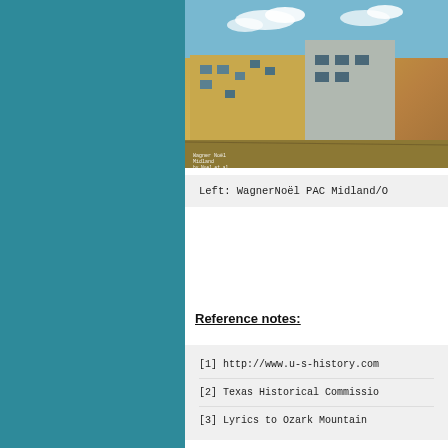[Figure (photo): Photo of WagnerNoël PAC Midland building, a modern tan/beige angular building under a blue sky]
Left: WagnerNoël PAC Midland/O
Reference notes:
[1] http://www.u-s-history.com
[2] Texas Historical Commission
[3] Lyrics to Ozark Mountain